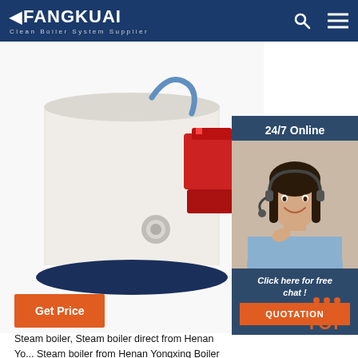FANGKUAI Clean Boiler System Supplier
[Figure (photo): Close-up photo of a white cylindrical steam boiler with red burner component and blue base, with a blue hose/pipe on top and chrome fittings]
[Figure (photo): 24/7 Online chat widget showing a smiling female customer service agent wearing a headset, with a dark blue background, 'Click here for free chat!' text in italic, and an orange QUOTATION button]
Steam boiler, Steam boiler direct from Henan Yongxing Boiler Group. Steam boiler from Henan Yongxing Boiler Group. High Quality Steam boiler Manufacturing and Exporting on Alibaba.com.
Get Price
TOP